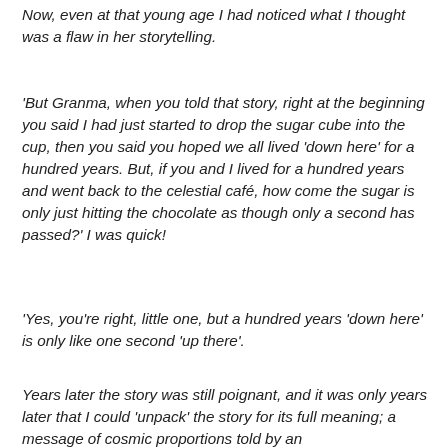Now, even at that young age I had noticed what I thought was a flaw in her storytelling.
'But Granma, when you told that story, right at the beginning you said I had just started to drop the sugar cube into the cup, then you said you hoped we all lived 'down here' for a hundred years. But, if you and I lived for a hundred years and went back to the celestial café, how come the sugar is only just hitting the chocolate as though only a second has passed?' I was quick!
'Yes, you're right, little one, but a hundred years 'down here' is only like one second 'up there'.
Years later the story was still poignant, and it was only years later that I could 'unpack' the story for its full meaning; a message of cosmic proportions told by an